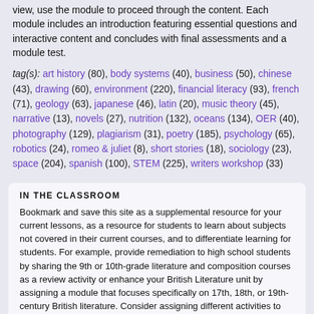view, use the module to proceed through the content. Each module includes an introduction featuring essential questions and interactive content and concludes with final assessments and a module test.
tag(s): art history (80), body systems (40), business (50), chinese (43), drawing (60), environment (220), financial literacy (93), french (71), geology (63), japanese (46), latin (20), music theory (45), narrative (13), novels (27), nutrition (132), oceans (134), OER (40), photography (129), plagiarism (31), poetry (185), psychology (65), robotics (24), romeo & juliet (8), short stories (18), sociology (23), space (204), spanish (100), STEM (225), writers workshop (33)
IN THE CLASSROOM
Bookmark and save this site as a supplemental resource for your current lessons, as a resource for students to learn about subjects not covered in their current courses, and to differentiate learning for students. For example, provide remediation to high school students by sharing the 9th or 10th-grade literature and composition courses as a review activity or enhance your British Literature unit by assigning a module that focuses specifically on 17th, 18th, or 19th-century British literature. Consider assigning different activities to groups of students to present to their peers. Ask them to use an infographic creator such as the Canva Infographic Creator, reviewed here, as a tool for sharing important information. As a final learning extension, create a digital class book using Ourboox, reviewed here, to share understanding of the content learned. Include text, images, maps, and more in the student-created books.